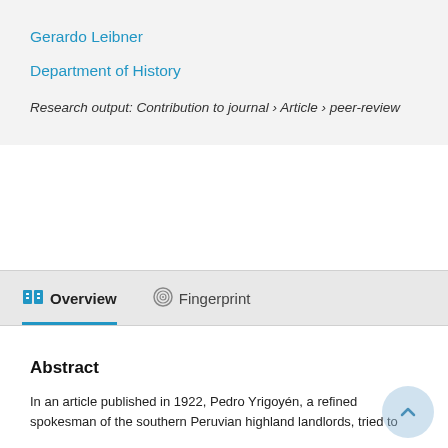Gerardo Leibner
Department of History
Research output: Contribution to journal › Article › peer-review
Overview   Fingerprint
Abstract
In an article published in 1922, Pedro Yrigoyén, a refined spokesman of the southern Peruvian highland landlords, tried to